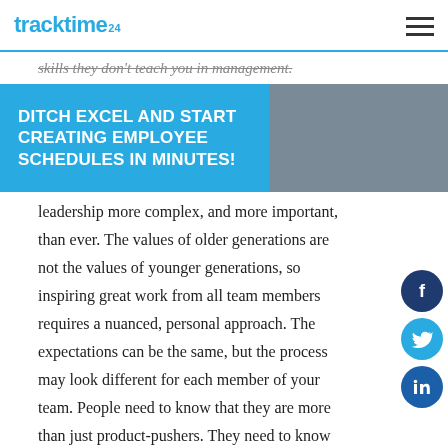tracktime24
skills they don't teach you in management.
[Figure (infographic): CTA banner with blue left section and gray right section reading: DITCH EXCEL AND START CREATING EMPLOYEE SCHEDULES IN MINUTES!]
leadership more complex, and more important, than ever. The values of older generations are not the values of younger generations, so inspiring great work from all team members requires a nuanced, personal approach. The expectations can be the same, but the process may look different for each member of your team. People need to know that they are more than just product-pushers. They need to know that their contributions to the team are